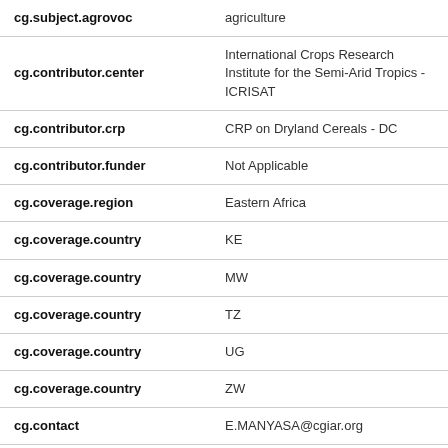| Field | Value |
| --- | --- |
| cg.subject.agrovoc | agriculture |
| cg.contributor.center | International Crops Research Institute for the Semi-Arid Tropics - ICRISAT |
| cg.contributor.crp | CRP on Dryland Cereals - DC |
| cg.contributor.funder | Not Applicable |
| cg.coverage.region | Eastern Africa |
| cg.coverage.country | KE |
| cg.coverage.country | MW |
| cg.coverage.country | TZ |
| cg.coverage.country | UG |
| cg.coverage.country | ZW |
| cg.contact | E.MANYASA@cgiar.org |
| dc.identifier.status | Open access |